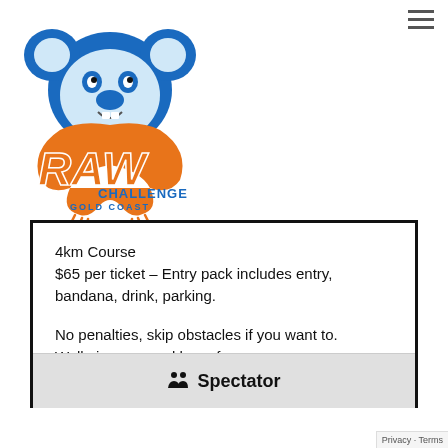[Figure (logo): RAW Challenge Gold Coast logo featuring an angry koala mascot in blue and orange colors with 'RAW Challenge Gold Coast' text]
4km Course
$65 per ticket – Entry pack includes entry, bandana, drink, parking.

No penalties, skip obstacles if you want to. Walk, jog, run and have fun.
Spectator